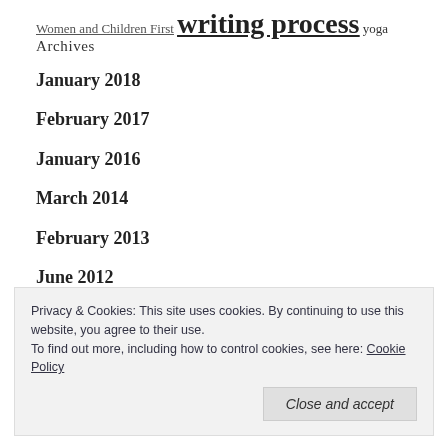Women and Children First writing process yoga
Archives
January 2018
February 2017
January 2016
March 2014
February 2013
June 2012
March 2012
Privacy & Cookies: This site uses cookies. By continuing to use this website, you agree to their use. To find out more, including how to control cookies, see here: Cookie Policy
Close and accept